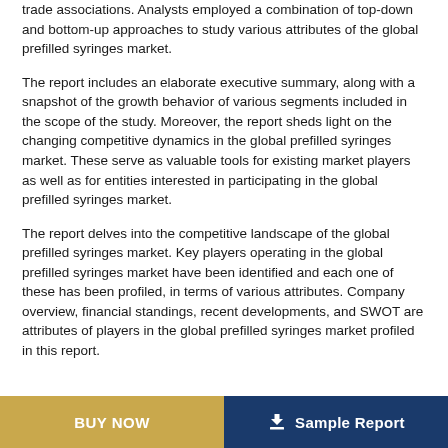trade associations. Analysts employed a combination of top-down and bottom-up approaches to study various attributes of the global prefilled syringes market.
The report includes an elaborate executive summary, along with a snapshot of the growth behavior of various segments included in the scope of the study. Moreover, the report sheds light on the changing competitive dynamics in the global prefilled syringes market. These serve as valuable tools for existing market players as well as for entities interested in participating in the global prefilled syringes market.
The report delves into the competitive landscape of the global prefilled syringes market. Key players operating in the global prefilled syringes market have been identified and each one of these has been profiled, in terms of various attributes. Company overview, financial standings, recent developments, and SWOT are attributes of players in the global prefilled syringes market profiled in this report.